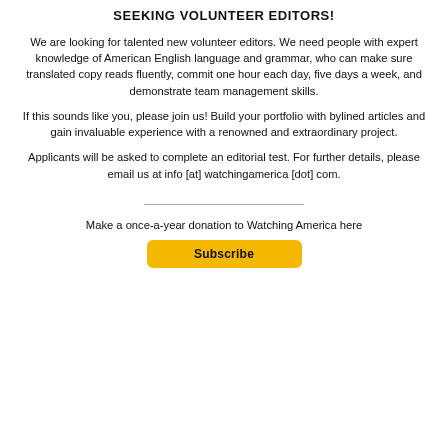SEEKING VOLUNTEER EDITORS!
We are looking for talented new volunteer editors. We need people with expert knowledge of American English language and grammar, who can make sure translated copy reads fluently, commit one hour each day, five days a week, and demonstrate team management skills.
If this sounds like you, please join us! Build your portfolio with bylined articles and gain invaluable experience with a renowned and extraordinary project.
Applicants will be asked to complete an editorial test. For further details, please email us at info [at] watchingamerica [dot] com.
Make a once-a-year donation to Watching America here